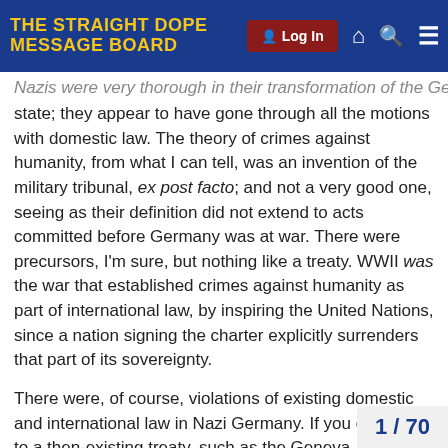THE STRAIGHT DOPE MESSAGE BOARD | Log In
Nazis were very thorough in their transformation of the German state; they appear to have gone through all the motions with domestic law. The theory of crimes against humanity, from what I can tell, was an invention of the military tribunal, ex post facto; and not a very good one, seeing as their definition did not extend to acts committed before Germany was at war. There were precursors, I'm sure, but nothing like a treaty. WWII was the war that established crimes against humanity as part of international law, by inspiring the United Nations, since a nation signing the charter explicitly surrenders that part of its sovereignty.
There were, of course, violations of existing domestic and international law in Nazi Germany. If you can point to a then-existing treaty, such as the Geneva Convention of 1929, I will agree that those actions were illegal even at the time. And surely there were Nazis who violated domestic statutes without authorization from the chain of command.
I also want to stress the difference betwee
1 / 70